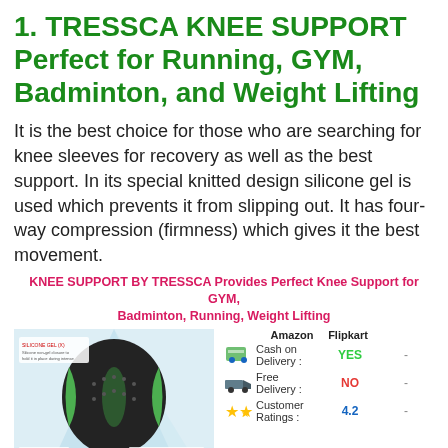1. TRESSCA KNEE SUPPORT Perfect for Running, GYM, Badminton, and Weight Lifting
It is the best choice for those who are searching for knee sleeves for recovery as well as the best support. In its special knitted design silicone gel is used which prevents it from slipping out. It has four-way compression (firmness) which gives it the best movement.
KNEE SUPPORT BY TRESSCA Provides Perfect Knee Support for GYM, Badminton, Running, Weight Lifting
|  | Amazon | Flipkart |
| --- | --- | --- |
| Cash on Delivery : | YES | - |
| Free Delivery : | NO | - |
| Customer Ratings : | 4.2 | - |
[Figure (photo): Product photo of Tressca knee support sleeve in black and green color with silicone gel design details]